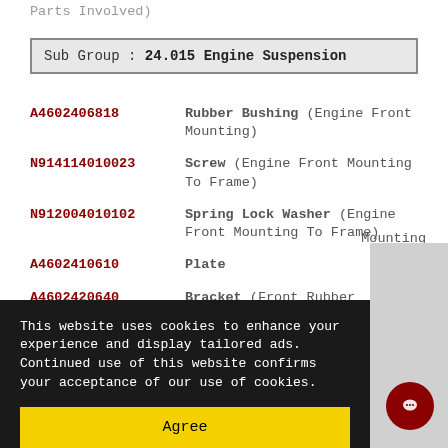Parts Involved)
Sub Group : 24.015 Engine Suspension
A4602406818  Rubber Bushing (Engine Front Mounting)
N914114010023  Screw (Engine Front Mounting To Frame)
N912004010102  Spring Lock Washer (Engine Front Mounting To Frame)
A4602410610  Plate
A4602420640  Bracket (Front Rubber Mounting)
N000860010071  Screw (Front Rubber Mounting
This website uses cookies to enhance your experience and display tailored ads. Continued use of this website confirms your acceptance of our use of cookies.
Agree
Mounting